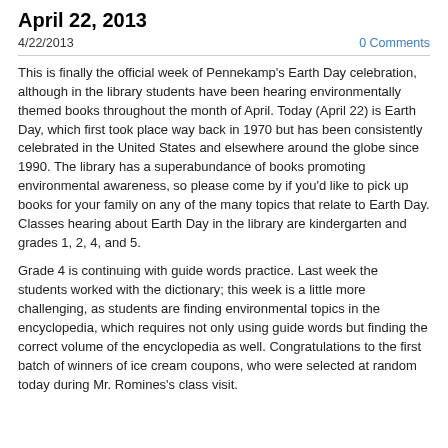April 22, 2013
4/22/2013
0 Comments
This is finally the official week of Pennekamp's Earth Day celebration, although in the library students have been hearing environmentally themed books throughout the month of April. Today (April 22) is Earth Day, which first took place way back in 1970 but has been consistently celebrated in the United States and elsewhere around the globe since 1990. The library has a superabundance of books promoting environmental awareness, so please come by if you'd like to pick up books for your family on any of the many topics that relate to Earth Day. Classes hearing about Earth Day in the library are kindergarten and grades 1, 2, 4, and 5.
Grade 4 is continuing with guide words practice. Last week the students worked with the dictionary; this week is a little more challenging, as students are finding environmental topics in the encyclopedia, which requires not only using guide words but finding the correct volume of the encyclopedia as well. Congratulations to the first batch of winners of ice cream coupons, who were selected at random today during Mr. Romines's class visit.